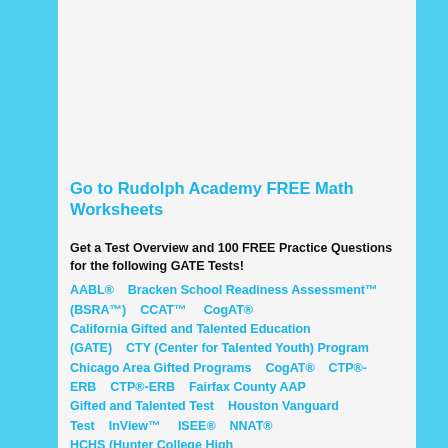Go to Rudolph Academy FREE Math Worksheets
Get a Test Overview and 100 FREE Practice Questions for the following GATE Tests!
AABL®    Bracken School Readiness Assessment™ (BSRA™)    CCAT™    CogAT®    California Gifted and Talented Education (GATE)    CTY (Center for Talented Youth) Program    Chicago Area Gifted Programs    CogAT®    CTP®-ERB    CTP®-ERB    Fairfax County AAP    Gifted and Talented Test    Houston Vanguard Test    InView™    ISEE®    NNAT®    HCHS (Hunter College High School®)    OLSAT®    Ravens Progressive Matrices™    Iowa Assessments® (ITBS®)    KARC™-